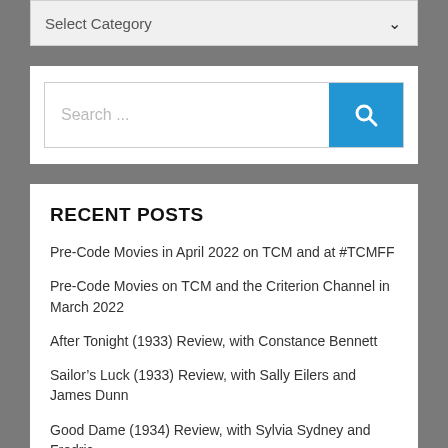[Figure (screenshot): Dropdown widget showing 'Select Category' with a chevron arrow on the right, on a light gray background]
[Figure (screenshot): Search bar with placeholder text 'Search ...' and a blue search button with a magnifying glass icon]
RECENT POSTS
Pre-Code Movies in April 2022 on TCM and at #TCMFF
Pre-Code Movies on TCM and the Criterion Channel in March 2022
After Tonight (1933) Review, with Constance Bennett
Sailor's Luck (1933) Review, with Sally Eilers and James Dunn
Good Dame (1934) Review, with Sylvia Sydney and Fredric